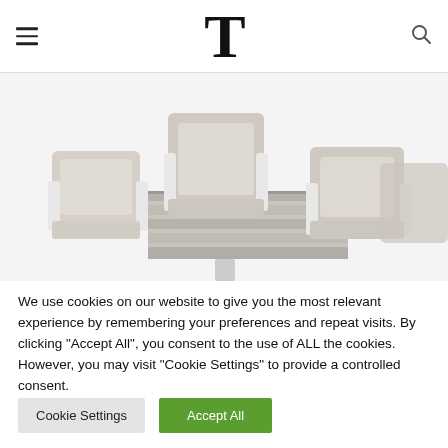T
[Figure (photo): Outdoor patio furniture set with white aluminum frames and beige/taupe sling seats, including four chairs around a rectangular slatted table, photographed against a white background.]
We use cookies on our website to give you the most relevant experience by remembering your preferences and repeat visits. By clicking "Accept All", you consent to the use of ALL the cookies. However, you may visit "Cookie Settings" to provide a controlled consent.
Cookie Settings
Accept All